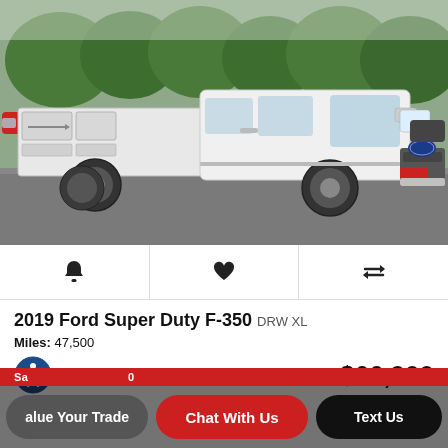[Figure (photo): White 2019 Ford Super Duty F-350 DRW XL pickup truck with service utility body, photographed in a parking lot with trees in the background.]
Bell icon | Heart icon | Compare icon
2019 Ford Super Duty F-350 DRW XL
Miles: 47,500
Dube Price: $66,900
alue Your Trade | Chat With Us | Text Us